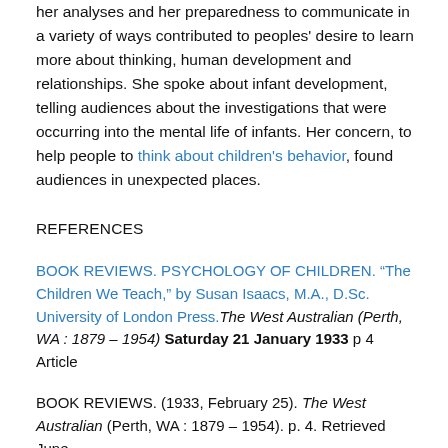her analyses and her preparedness to communicate in a variety of ways contributed to peoples' desire to learn more about thinking, human development and relationships. She spoke about infant development, telling audiences about the investigations that were occurring into the mental life of infants. Her concern, to help people to think about children's behavior, found audiences in unexpected places.
REFERENCES
BOOK REVIEWS. PSYCHOLOGY OF CHILDREN. “The Children We Teach,” by Susan Isaacs, M.A., D.Sc. University of London Press. The West Australian (Perth, WA : 1879 – 1954) Saturday 21 January 1933 p 4 Article
BOOK REVIEWS. (1933, February 25). The West Australian (Perth, WA : 1879 – 1954). p. 4. Retrieved June